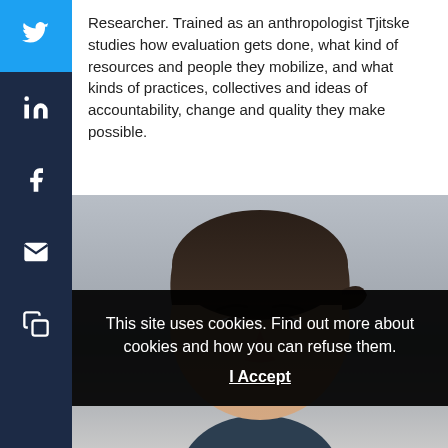Researcher. Trained as an anthropologist Tjitske studies how evaluation gets done, what kind of resources and people they mobilize, and what kinds of practices, collectives and ideas of accountability, change and quality they make possible.
[Figure (photo): Portrait photo of a person with dark hair pulled back, wearing formal attire, against a grey background. Only the top portion of the head is visible.]
This site uses cookies. Find out more about cookies and how you can refuse them. I Accept